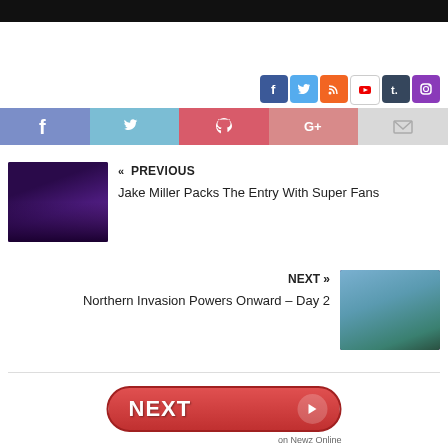[Figure (screenshot): Top black navigation bar]
[Figure (infographic): Social media icon buttons: Facebook, Twitter, RSS, YouTube, Tumblr, Instagram]
[Figure (infographic): Share buttons bar: Facebook (f), Twitter, Pinterest, Google+, Email]
« PREVIOUS
Jake Miller Packs The Entry With Super Fans
[Figure (photo): Concert photo for Jake Miller article thumbnail]
NEXT »
Northern Invasion Powers Onward – Day 2
[Figure (photo): Outdoor festival crowd photo thumbnail]
[Figure (infographic): Red NEXT button with arrow, labeled 'on Newz Online']